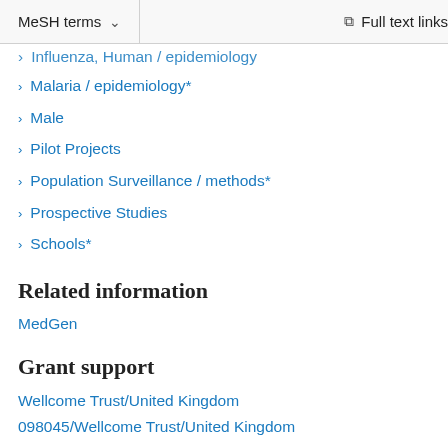MeSH terms   Full text links
Influenza, Human / epidemiology
Malaria / epidemiology*
Male
Pilot Projects
Population Surveillance / methods*
Prospective Studies
Schools*
Related information
MedGen
Grant support
Wellcome Trust/United Kingdom
098045/Wellcome Trust/United Kingdom